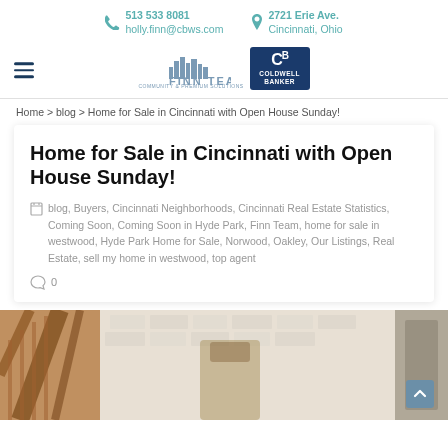513 533 8081 | holly.finn@cbws.com | 2721 Erie Ave. Cincinnati, Ohio
[Figure (logo): Finn Team and Coldwell Banker logos in navigation bar with hamburger menu icon]
Home > blog > Home for Sale in Cincinnati with Open House Sunday!
Home for Sale in Cincinnati with Open House Sunday!
blog, Buyers, Cincinnati Neighborhoods, Cincinnati Real Estate Statistics, Coming Soon, Coming Soon in Hyde Park, Finn Team, home for sale in westwood, Hyde Park Home for Sale, Norwood, Oakley, Our Listings, Real Estate, sell my home in westwood, top agent
0
[Figure (photo): Interior photo of a home showing a wooden staircase with railing and white/light brick wall in the background]